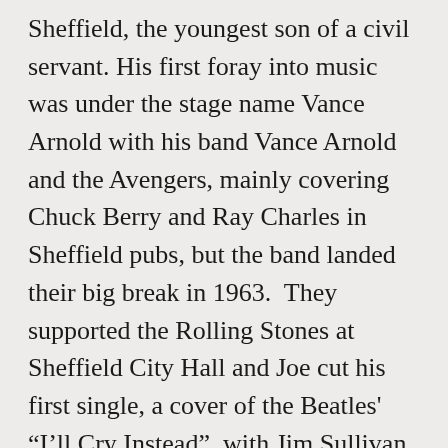Sheffield, the youngest son of a civil servant. His first foray into music was under the stage name Vance Arnold with his band Vance Arnold and the Avengers, mainly covering Chuck Berry and Ray Charles in Sheffield pubs, but the band landed their big break in 1963.  They supported the Rolling Stones at Sheffield City Hall and Joe cut his first single, a cover of the Beatles' “I’ll Cry Instead”, with Jim Sullivan and Jimmy Page on guitars. He soon developed an interest in blues music of John Lee Hooker, Muddy Waters, Lightnin’ Hopkins and teamed up with Chris Stainton to form the Grease Band. He then moved to London with Chris Stainton, where a new Grease Band were given a residency at the Marquee Club in London. He formed the new band with Chris Stainton and keyboardist Tommy Eyre. After minor success in the United States with the single “Marjorine”, Joe and his